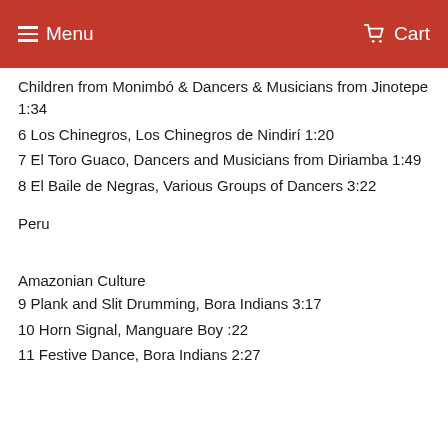Menu  Cart
Children from Monimbó & Dancers & Musicians from Jinotepe 1:34
6 Los Chinegros, Los Chinegros de Nindirí 1:20
7 El Toro Guaco, Dancers and Musicians from Diriamba 1:49
8 El Baile de Negras, Various Groups of Dancers 3:22
Peru
Amazonian Culture
9 Plank and Slit Drumming, Bora Indians 3:17
10 Horn Signal, Manguare Boy :22
11 Festive Dance, Bora Indians 2:27